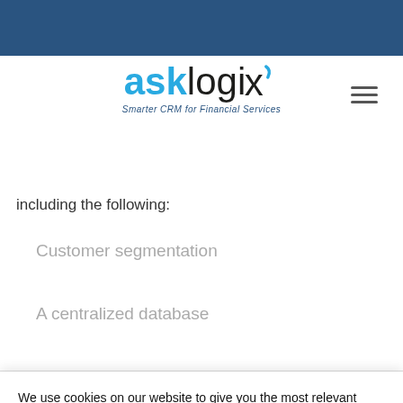[Figure (logo): asklogix logo with tagline 'Smarter CRM for Financial Services']
including the following:
Customer segmentation
A centralized database
We use cookies on our website to give you the most relevant experience by remembering your preferences and repeat visits. By clicking "Accept All", you consent to the use of ALL the cookies. However, you may visit "Cookie Settings" to provide a controlled consent.